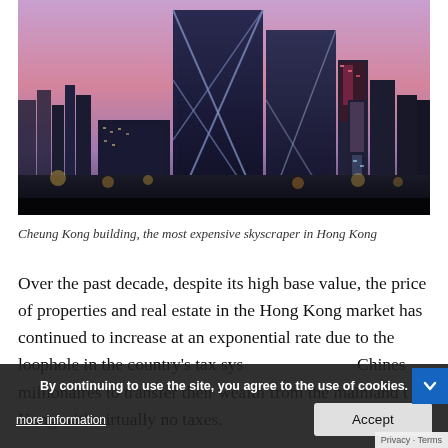[Figure (photo): Photograph of the Cheung Kong building (Bank of China Tower) and surrounding Hong Kong skyscrapers at dusk/twilight with purple-pink sky and city lights illuminated below.]
Cheung Kong building, the most expensive skyscraper in Hong Kong
Over the past decade, despite its high base value, the price of properties and real estate in the Hong Kong market has continued to increase at an exponential rate due to the loophole in the country's tax system allowing Chinese millionaires to transfer their wealth from the mainland to Hong Kong with virtually no taxes.